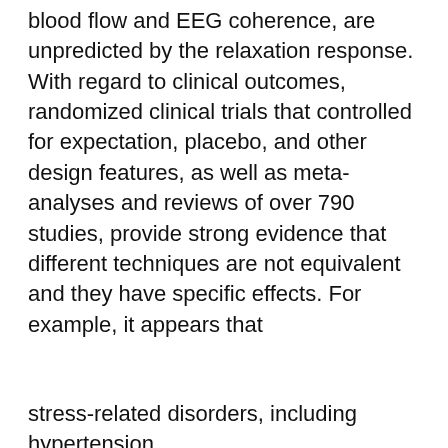blood flow and EEG coherence, are unpredicted by the relaxation response. With regard to clinical outcomes, randomized clinical trials that controlled for expectation, placebo, and other design features, as well as meta-analyses and reviews of over 790 studies, provide strong evidence that different techniques are not equivalent and they have specific effects. For example, it appears that
arly such ore the
This website uses cookies to ensure you get the best experience on our website. See our Privacy Policy.
I Accept
stress-related disorders, including hypertension,